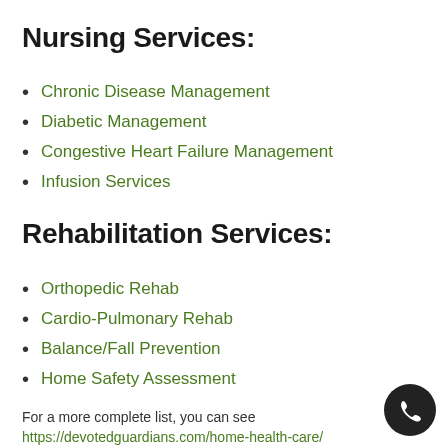Nursing Services:
Chronic Disease Management
Diabetic Management
Congestive Heart Failure Management
Infusion Services
Rehabilitation Services:
Orthopedic Rehab
Cardio-Pulmonary Rehab
Balance/Fall Prevention
Home Safety Assessment
For a more complete list, you can see
https://devotedguardians.com/home-health-care/